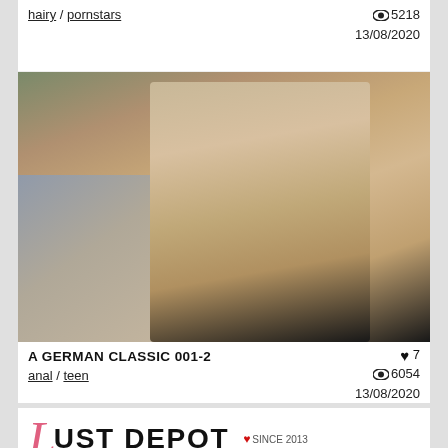hairy / pornstars   👁 5218   13/08/2020
[Figure (photo): A blonde woman in a black top looking downward, with another person in the foreground, indoor setting with blue wall and yellow container in background.]
A GERMAN CLASSIC 001-2  ♥ 7
anal / teen   👁 6054
13/08/2020
LUST DEPOT  ❤ SINCE 2013